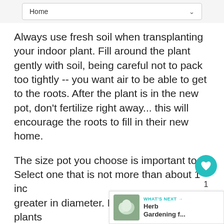Home
Always use fresh soil when transplanting your indoor plant. Fill around the plant gently with soil, being careful not to pack too tightly -- you want air to be able to get to the roots. After the plant is in the new pot, don't fertilize right away... this will encourage the roots to fill in their new home.
The size pot you choose is important too. Select one that is not more than about 1 inch greater in diameter. Remember, many plants prefer being somewhat pot bound. Always start with a clean pot!